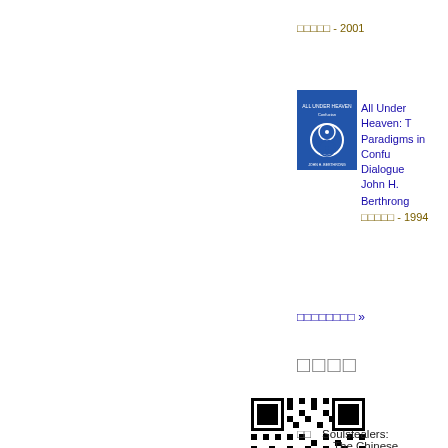[Figure (other): Book cover thumbnail for a book with year 2001, partial view]
□□□□□ - 2001
[Figure (other): Book cover thumbnail for All Under Heaven, blue cover with circular design]
All Under Heaven: T... Paradigms in Confu... Dialogue
John H. Berthrong
□□□□□ - 1994
□□□□□□□□ »
□□□□
[Figure (other): QR code image, black and white]
□□    Soulstealers: The Chinese